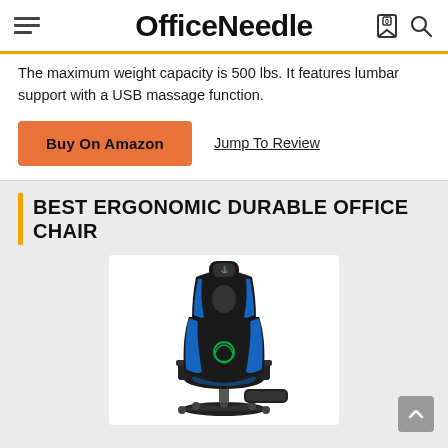OfficeNeedle
The maximum weight capacity is 500 lbs. It features lumbar support with a USB massage function.
Buy On Amazon   Jump To Review
BEST ERGONOMIC DURABLE OFFICE CHAIR
[Figure (photo): Black and blue gaming/ergonomic office chair with footrest, headrest pillow, and lumbar support, shown on white background.]